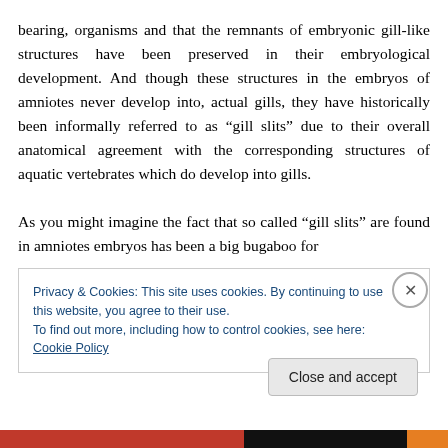bearing, organisms and that the remnants of embryonic gill-like structures have been preserved in their embryological development. And though these structures in the embryos of amniotes never develop into, actual gills, they have historically been informally referred to as “gill slits” due to their overall anatomical agreement with the corresponding structures of aquatic vertebrates which do develop into gills.

As you might imagine the fact that so called “gill slits” are found in amniotes embryos has been a big bugaboo for
Privacy & Cookies: This site uses cookies. By continuing to use this website, you agree to their use.
To find out more, including how to control cookies, see here: Cookie Policy
Close and accept